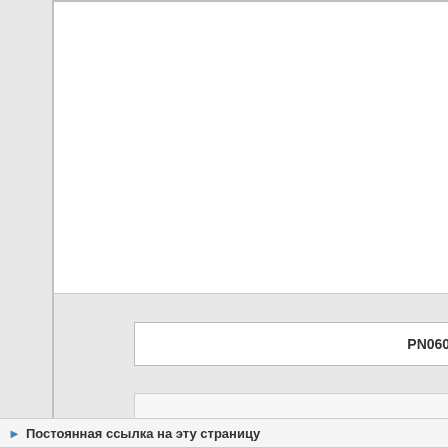PN0603-270M
Описание/Descri
SMD Power Indu
Производитель/М
PREMO CORPO
Ссылка на datas
~/PN06
PN0603-270M.PDF (441 Kb)
Постоянная ссылка на эту страницу